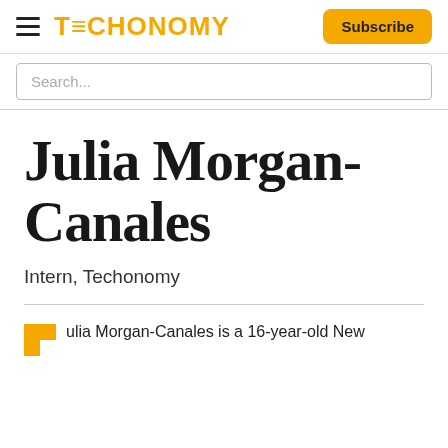TECHONOMY | Subscribe
Search...
Julia Morgan-Canales
Intern, Techonomy
ulia Morgan-Canales is a 16-year-old New